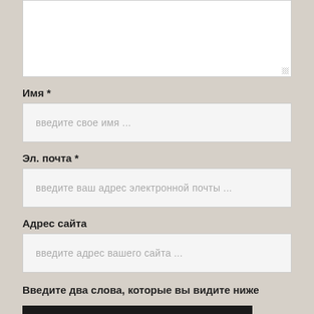[Figure (screenshot): Partially visible textarea input box at the top of a web comment form]
Имя *
[Figure (screenshot): Text input field with placeholder: введите свое имя ...]
Эл. почта *
[Figure (screenshot): Text input field with placeholder: введите ваш адрес электронной почты ...]
Адрес сайта
[Figure (screenshot): Text input field with placeholder: введите адрес вашего сайта ...]
Введите два слова, которые вы видите ниже
ОСТАВИТЬ КОММЕНТАРИЙ
Наверх